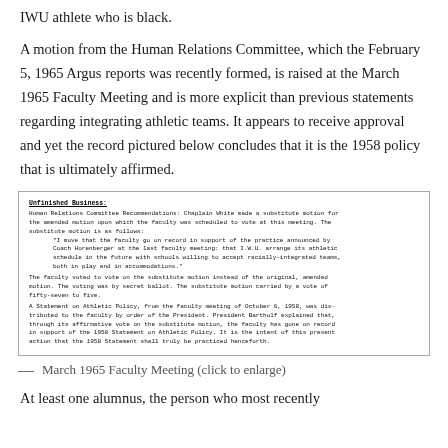IWU athlete who is black.
A motion from the Human Relations Committee, which the February 5, 1965 Argus reports was recently formed, is raised at the March 1965 Faculty Meeting and is more explicit than previous statements regarding integrating athletic teams. It appears to receive approval and yet the record pictured below concludes that it is the 1958 policy that is ultimately affirmed.
[Figure (screenshot): Scanned document excerpt from March 1965 Faculty Meeting minutes showing Unfinished Business section with Human Relations Committee Recommendations, a substitute motion by Chaplain White regarding IWU athletic schedule with racially-integrated teams, voted 57-5, and reference to the 1958 Statement on Athletic Policy.]
— March 1965 Faculty Meeting (click to enlarge)
At least one alumnus, the person who most recently